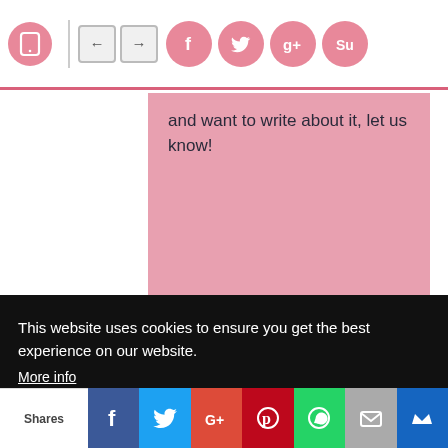Navigation bar with tablet icon, arrows, and social sharing icons (Facebook, Twitter, Google+, StumbleUpon)
and want to write about it, let us know!
This website uses cookies to ensure you get the best experience on our website.
More info
Got it!
Shares | Facebook | Twitter | Google+ | Pinterest | WhatsApp | Email | Crown